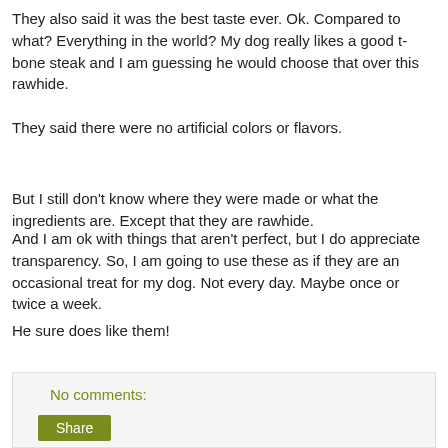They also said it was the best taste ever. Ok. Compared to what? Everything in the world? My dog really likes a good t-bone steak and I am guessing he would choose that over this rawhide.
They said there were no artificial colors or flavors.
But I still don't know where they were made or what the ingredients are. Except that they are rawhide.
And I am ok with things that aren't perfect, but I do appreciate transparency. So, I am going to use these as if they are an occasional treat for my dog. Not every day. Maybe once or twice a week.
He sure does like them!
No comments: